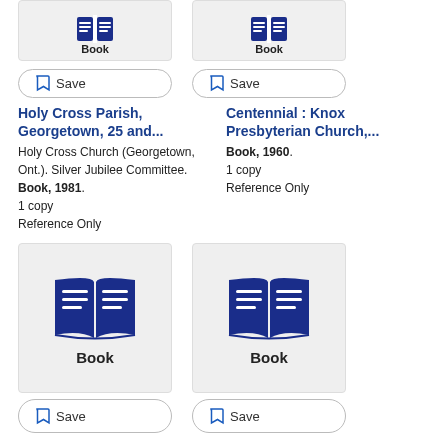[Figure (illustration): Book cover thumbnail with book icon and label 'Book' (top left)]
[Figure (illustration): Book cover thumbnail with book icon and label 'Book' (top right)]
Save (button, top left)
Save (button, top right)
Holy Cross Parish, Georgetown, 25 and...
Centennial : Knox Presbyterian Church,...
Holy Cross Church (Georgetown, Ont.). Silver Jubilee Committee. Book, 1981. 1 copy Reference Only
Book, 1960. 1 copy Reference Only
[Figure (illustration): Large book cover thumbnail with book icon and label 'Book' (bottom left)]
[Figure (illustration): Large book cover thumbnail with book icon and label 'Book' (bottom right)]
Save (button, bottom left)
Save (button, bottom right)